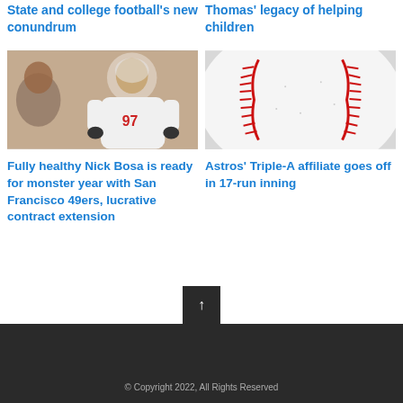State and college football's new conundrum
Thomas' legacy of helping children
[Figure (photo): Football player wearing white jersey with number 97, San Francisco 49ers training camp]
[Figure (photo): Close-up of a baseball showing red stitching on white leather]
Fully healthy Nick Bosa is ready for monster year with San Francisco 49ers, lucrative contract extension
Astros' Triple-A affiliate goes off in 17-run inning
© Copyright 2022, All Rights Reserved